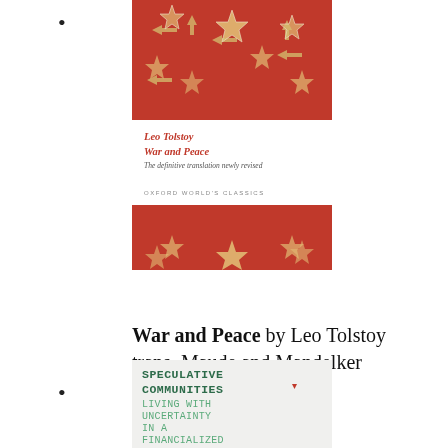[Figure (illustration): Book cover of 'War and Peace' by Leo Tolstoy, Oxford World's Classics edition. Red background with decorative golden/white star and arrow patterns. White band in middle with text: 'Leo Tolstoy / War and Peace / The definitive translation newly revised / OXFORD WORLD'S CLASSICS'.]
War and Peace by Leo Tolstoy trans. Maude and Mandelker
[Figure (illustration): Book cover of 'Speculative Communities: Living with Uncertainty in a Financialized World' by Aris Komporozos-Athanasiou. Light gray/white background with green and dark red pixel/digital style text. Title in dark green pixel font, subtitle in lighter green pixel font, author name in dark green pixel font. Small red downward triangle after 'COMMUNITIES', small red upward triangle after 'WORLD', small red downward triangle after 'ATHANASIOU'.]